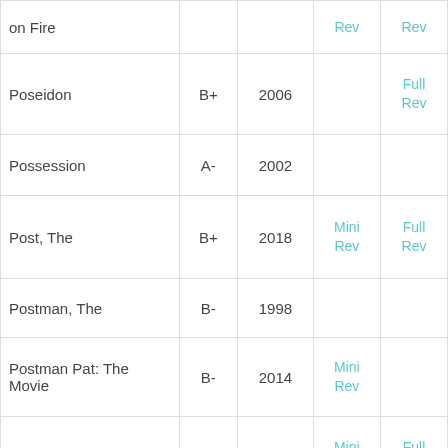| Title | Grade | Year | Mini Rev | Full Rev |
| --- | --- | --- | --- | --- |
| on Fire |  |  | Mini Rev | Rev |
| Poseidon | B+ | 2006 |  | Full Rev |
| Possession | A- | 2002 |  |  |
| Post, The | B+ | 2018 | Mini Rev | Full Rev |
| Postman, The | B- | 1998 |  |  |
| Postman Pat: The Movie | B- | 2014 | Mini Rev |  |
| Potiche | A- | 2011 | Mini Rev | Full Rev |